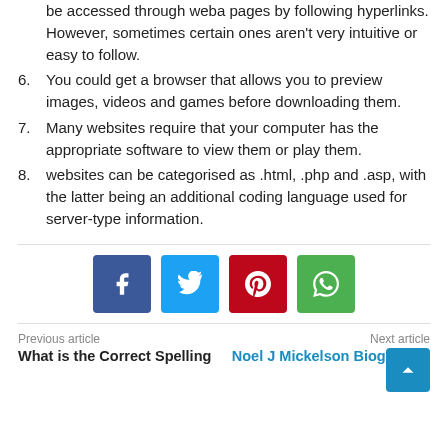be accessed through weba pages by following hyperlinks. However, sometimes certain ones aren't very intuitive or easy to follow.
6. You could get a browser that allows you to preview images, videos and games before downloading them.
7. Many websites require that your computer has the appropriate software to view them or play them.
8. websites can be categorised as .html, .php and .asp, with the latter being an additional coding language used for server-type information.
[Figure (other): Social share buttons: Facebook (blue), Twitter (light blue), Pinterest (red), WhatsApp (green)]
Previous article: What is the Correct Spelling | Next article: Noel J Mickelson Biography!